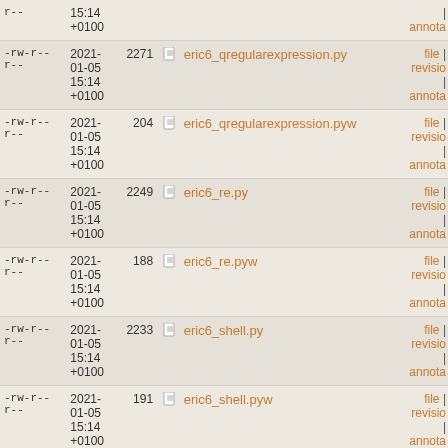| permissions | date | size | filename | links |
| --- | --- | --- | --- | --- |
| -rw-r--r-- | 2021-01-05 15:14 +0100 |  |  | | annota |
| -rw-r--r-- | 2021-01-05 15:14 +0100 | 2271 | eric6_qregularexpression.py | file | revisio | annota |
| -rw-r--r-- | 2021-01-05 15:14 +0100 | 204 | eric6_qregularexpression.pyw | file | revisio | annota |
| -rw-r--r-- | 2021-01-05 15:14 +0100 | 2249 | eric6_re.py | file | revisio | annota |
| -rw-r--r-- | 2021-01-05 15:14 +0100 | 188 | eric6_re.pyw | file | revisio | annota |
| -rw-r--r-- | 2021-01-05 15:14 +0100 | 2233 | eric6_shell.py | file | revisio | annota |
| -rw-r--r-- | 2021-01-05 15:14 +0100 | 191 | eric6_shell.pyw | file | revisio | annota |